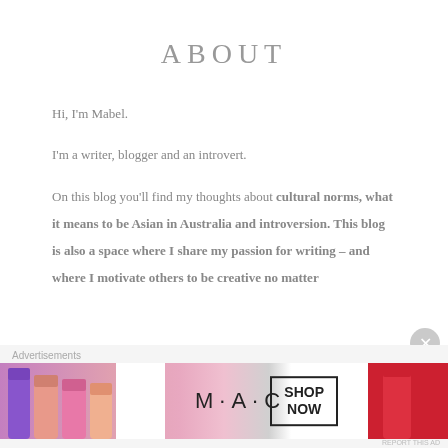ABOUT
Hi, I'm Mabel.
I'm a writer, blogger and an introvert.
On this blog you'll find my thoughts about cultural norms, what it means to be Asian in Australia and introversion. This blog is also a space where I share my passion for writing – and where I motivate others to be creative no matter
Advertisements
[Figure (illustration): MAC cosmetics advertisement banner with lipsticks, MAC logo, and SHOP NOW button]